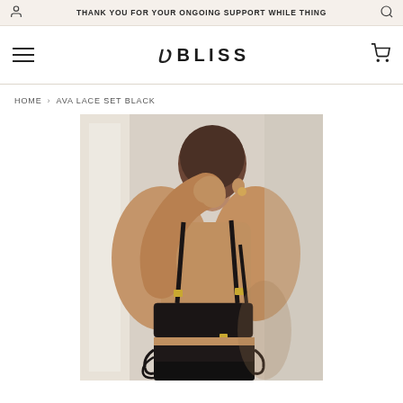THANK YOU FOR YOUR ONGOING SUPPORT WHILE THING
ʋ BLISS
HOME › AVA LACE SET BLACK
[Figure (photo): Model photographed from behind wearing a black lace bra and high-waist black lace underwear set, arm raised touching back of neck, light background]